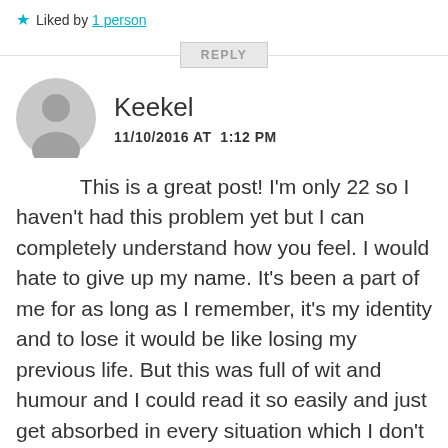★ Liked by 1 person
REPLY
Keekel
11/10/2016 AT 1:12 PM
This is a great post! I'm only 22 so I haven't had this problem yet but I can completely understand how you feel. I would hate to give up my name. It's been a part of me for as long as I remember, it's my identity and to lose it would be like losing my previous life. But this was full of wit and humour and I could read it so easily and just get absorbed in every situation which I don't get with a lot of